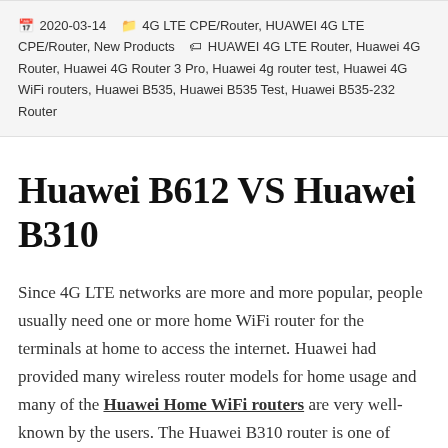2020-03-14  4G LTE CPE/Router, HUAWEI 4G LTE CPE/Router, New Products  HUAWEI 4G LTE Router, Huawei 4G Router, Huawei 4G Router 3 Pro, Huawei 4g router test, Huawei 4G WiFi routers, Huawei B535, Huawei B535 Test, Huawei B535-232 Router
Huawei B612 VS Huawei B310
Since 4G LTE networks are more and more popular, people usually need one or more home WiFi router for the terminals at home to access the internet. Huawei had provided many wireless router models for home usage and many of the Huawei Home WiFi routers are very well-known by the users. The Huawei B310 router is one of them. A few months ago, Huawei is reported a new 4G home WiFi router